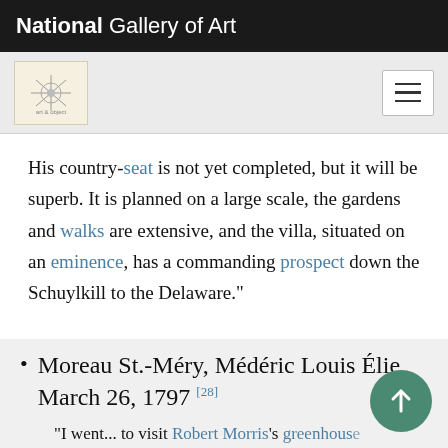National Gallery of Art
His country-seat is not yet completed, but it will be superb. It is planned on a large scale, the gardens and walks are extensive, and the villa, situated on an eminence, has a commanding prospect down the Schuylkill to the Delaware."
Moreau St.-Méry, Médéric Louis Élie, March 26, 1797 [28]
"I went... to visit Robert Morris's greenhouse [serre chaud] near Philadelphia. It had very beautiful